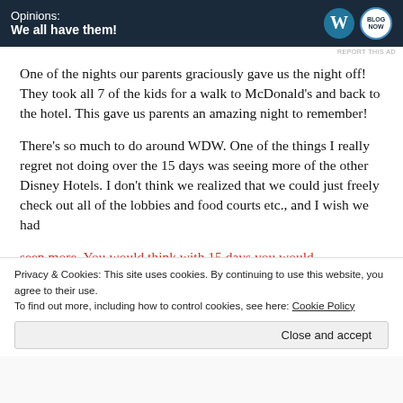[Figure (other): Advertisement banner with dark navy background showing 'Opinions: We all have them!' text with WordPress and blog logos]
One of the nights our parents graciously gave us the night off! They took all 7 of the kids for a walk to McDonald's and back to the hotel. This gave us parents an amazing night to remember!
There's so much to do around WDW. One of the things I really regret not doing over the 15 days was seeing more of the other Disney Hotels. I don't think we realized that we could just freely check out all of the lobbies and food courts etc., and I wish we had seen more. You would think with 15 days you would
Privacy & Cookies: This site uses cookies. By continuing to use this website, you agree to their use.
To find out more, including how to control cookies, see here: Cookie Policy
Close and accept